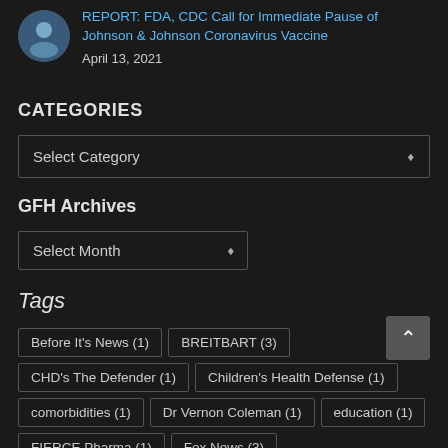REPORT: FDA, CDC Call for Immediate Pause of Johnson & Johnson Coronavirus Vaccine
April 13, 2021
CATEGORIES
Select Category
GFH Archives
Select Month
Tags
Before It's News (1)
BREITBART (3)
CHD's The Defender (1)
Children's Health Defense (1)
comorbidities (1)
Dr Vernon Coleman (1)
education (1)
FIERCE Pharma (1)
Fox News (3)
GeoEngineeringWatch.org (1)